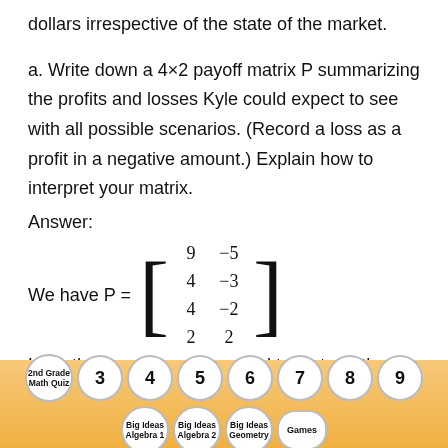dollars irrespective of the state of the market.
a. Write down a 4×2 payoff matrix P summarizing the profits and losses Kyle could expect to see with all possible scenarios. (Record a loss as a profit in a negative amount.) Explain how to interpret your matrix.
Answer:
We have P =
Here the four rows correspond to, in turn, the options
[Figure (other): Navigation bar with subject/grade circles: 2nd Grade Math Quiz, 3, 4, 5, 6, 7, 8, 9 (top row); Big Ideas Algebra 1, Big Ideas Algebra 2, Big Ideas Geometry, Games (bottom row)]